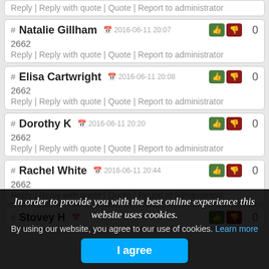Reply | Reply with quote | Quote | Report to administrator
# Natalie Gillham 2016-06-11 20:07 0
2662
Reply | Reply with quote | Quote | Report to administrator
# Elisa Cartwright 2016-06-11 20:08 0
2662
Reply | Reply with quote | Quote | Report to administrator
# Dorothy K 2016-06-11 20:20 0
2662
Reply | Reply with quote | Quote | Report to administrator
# Rachel White 2016-06-11 20:44 0
2662
Reply | Reply with quote | Quote | Report to administrator
# Stovey H ... 0
# Mary Baldwin ... 0
2662 people live in...
In order to provide you with the best online experience this website uses cookies. By using our website, you agree to our use of cookies. Learn more
I agree